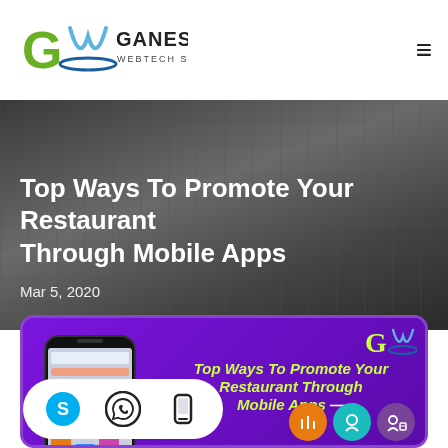Ganesha Webtech Solutionz
Top Ways To Promote Your Restaurant Through Mobile Apps
Mar 5, 2020
[Figure (infographic): Purple infographic showing a mobile phone illustration on the left and bold yellow-green text reading 'Top Ways To Promote Your Restaurant Through Mobile Apps' with the Ganesha Webtech logo, social media icons (Skype, WhatsApp, phone) in a white pill at the bottom, and circular icons at the bottom right.]